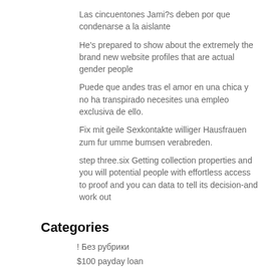Las cincuentones Jami?s deben por que condenarse a la aislante
He's prepared to show about the extremely the brand new website profiles that are actual gender people
Puede que andes tras el amor en una chica y no ha transpirado necesites una empleo exclusiva de ello.
Fix mit geile Sexkontakte williger Hausfrauen zum fur umme bumsen verabreden.
step three.six Getting collection properties and you will potential people with effortless access to proof and you can data to tell its decision-and work out
Categories
! Без рубрики
$100 payday loan
$255 payday loans